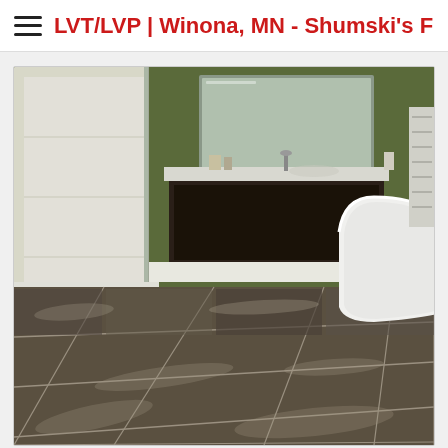LVT/LVP | Winona, MN - Shumski's Fl
[Figure (photo): Bathroom interior with dark stone-look LVT tile flooring, green walls, a dark floating vanity with white countertop and mirror, a white freestanding bathtub on the right, and a glass shower door on the left.]